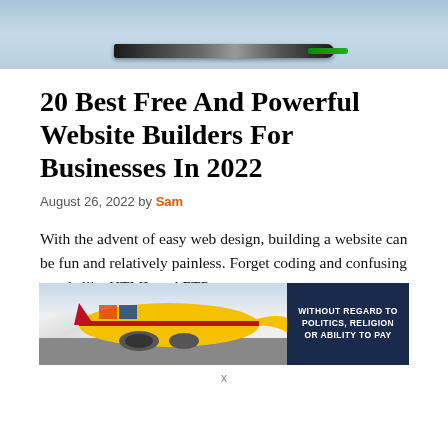[Figure (photo): Top image cropped — appears to show a dark object (possibly a cable or knife) against a light blue/grey background]
20 Best Free And Powerful Website Builders For Businesses In 2022
August 26, 2022 by Sam
With the advent of easy web design, building a website can be fun and relatively painless. Forget coding and confusing words like HTML and FTP
[Figure (photo): Advertisement banner showing a cargo airplane being loaded, with text 'WITHOUT REGARD TO POLITICS, RELIGION OR ABILITY TO PAY' on dark navy background]
x